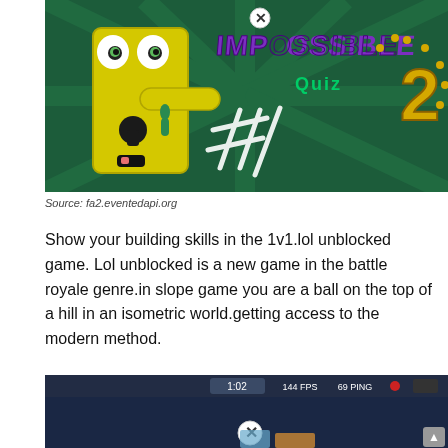[Figure (screenshot): Game screenshot or promotional image for 'Impossible Quiz 2' showing a cartoon door handle character with googly eyes on a dark green background with the game title in purple and gold text.]
Source: fa2.eventedapi.org
Show your building skills in the 1v1.lol unblocked game. Lol unblocked is a new game in the battle royale genre.in slope game you are a ball on the top of a hill in an isometric world.getting access to the modern method.
[Figure (screenshot): Game screenshot showing a dark blue game interface with HUD elements: timer showing 1:02, 144 FPS, 69 PING, and a close/exit button icon.]